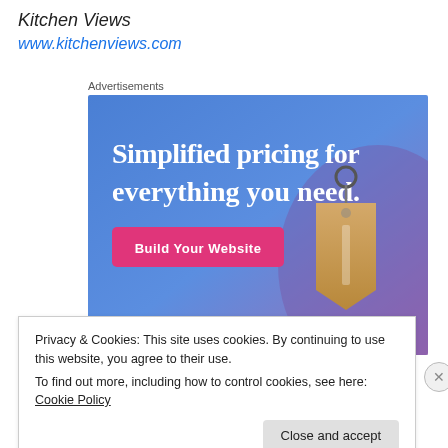Kitchen Views
www.kitchenviews.com
Advertisements
[Figure (illustration): Advertisement banner with blue-to-purple gradient background. Large white serif text reads 'Simplified pricing for everything you need.' A pink/magenta button labeled 'Build Your Website' is on the left. A tan/gold price tag with a metal ring hangs on the right side.]
Privacy & Cookies: This site uses cookies. By continuing to use this website, you agree to their use.
To find out more, including how to control cookies, see here: Cookie Policy
Close and accept